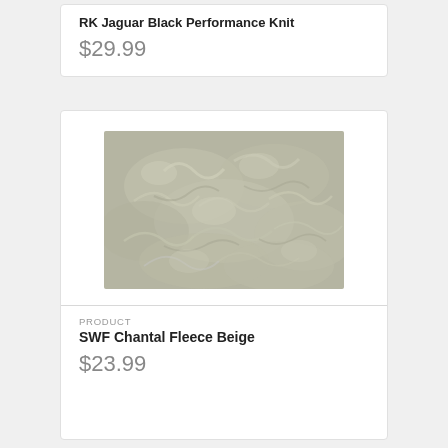RK Jaguar Black Performance Knit
$29.99
[Figure (photo): Close-up photo of beige/sage green fluffy fleece fabric with textured, curly pile surface]
PRODUCT
SWF Chantal Fleece Beige
$23.99